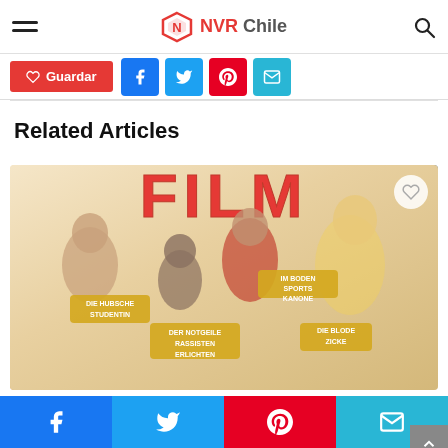NVR Chile
Guardar
Related Articles
[Figure (photo): Movie promotional poster featuring the word FILM in large red letters at top, with characters including two women and two men posing. Yellow badge labels visible: 'STUDENTIN', 'SPORTS KANONE', 'RASSE ENTLICHEN', 'ZICKE']
Social share bar with Facebook, Twitter, Pinterest, Email icons